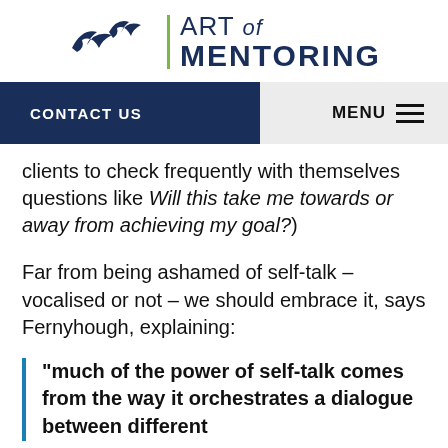[Figure (logo): Art of Mentoring logo with two flying birds silhouettes in navy blue, a green vertical divider line, and text 'ART of MENTORING' in navy blue bold]
CONTACT US | MENU
clients to check frequently with themselves questions like Will this take me towards or away from achieving my goal?)
Far from being ashamed of self-talk – vocalised or not – we should embrace it, says Fernyhough, explaining:
"much of the power of self-talk comes from the way it orchestrates a dialogue between different